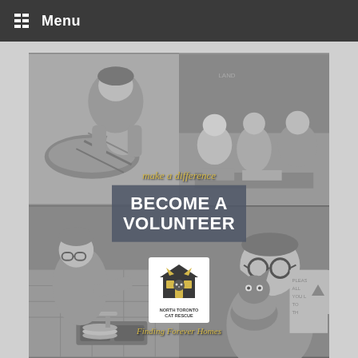Menu
[Figure (photo): Collage of volunteer photos for North Toronto Cat Rescue. Top-left: person bending close to a cat lying on a surface (black and white). Top-right: group of three smiling people at an event (black and white). Bottom-left: person washing dishes at a sink (black and white). Bottom-right: person holding a grey cat while wearing round glasses (black and white). Center overlay reads 'make a difference BECOME A VOLUNTEER'. Bottom center shows North Toronto Cat Rescue logo and tagline 'Finding Forever Homes'.]